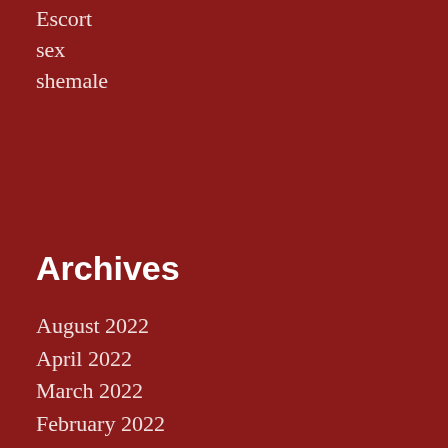Escort
sex
shemale
Archives
August 2022
April 2022
March 2022
February 2022
January 2022
December 2021
November 2021
October 2021
September 2021